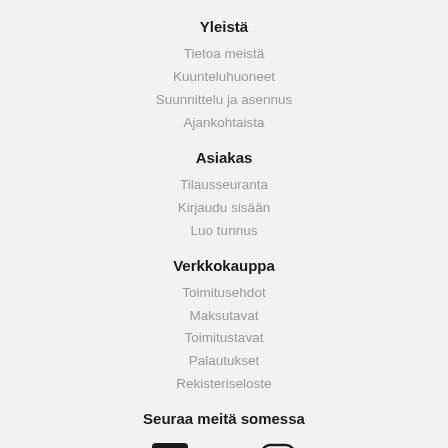Yleistä
Tietoa meistä
Kuunteluhuoneet
Suunnittelu ja asennus
Ajankohtaista
Asiakas
Tilausseuranta
Kirjaudu sisään
Luo tunnus
Verkkokauppa
Toimitusehdot
Maksutavat
Toimitustavat
Palautukset
Rekisteriseloste
Seuraa meitä somessa
[Figure (illustration): Social media icons: Facebook, Twitter, Instagram]